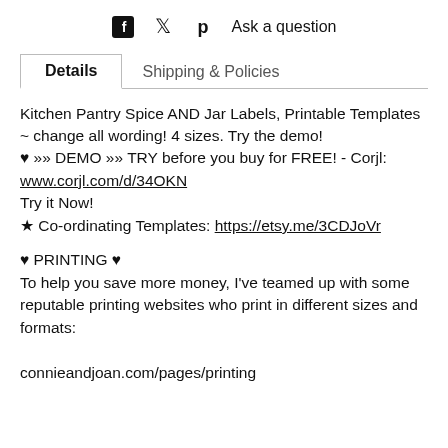[Figure (infographic): Social sharing icons: Facebook (f), Twitter (bird), Pinterest (p) icons, followed by text 'Ask a question']
Details    Shipping & Policies
Kitchen Pantry Spice AND Jar Labels, Printable Templates ~ change all wording! 4 sizes. Try the demo! ♥ »» DEMO »» TRY before you buy for FREE! - Corjl: www.corjl.com/d/34OKN
Try it Now!
★ Co-ordinating Templates: https://etsy.me/3CDJoVr
♥ PRINTING ♥
To help you save more money, I've teamed up with some reputable printing websites who print in different sizes and formats:
connieandjoan.com/pages/printing